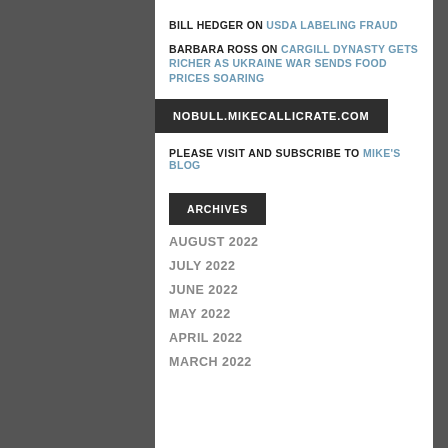BILL HEDGER ON USDA LABELING FRAUD
BARBARA ROSS ON CARGILL DYNASTY GETS RICHER AS UKRAINE WAR SENDS FOOD PRICES SOARING
NOBULL.MIKECALLICRATE.COM
PLEASE VISIT AND SUBSCRIBE TO MIKE'S BLOG
ARCHIVES
AUGUST 2022
JULY 2022
JUNE 2022
MAY 2022
APRIL 2022
MARCH 2022